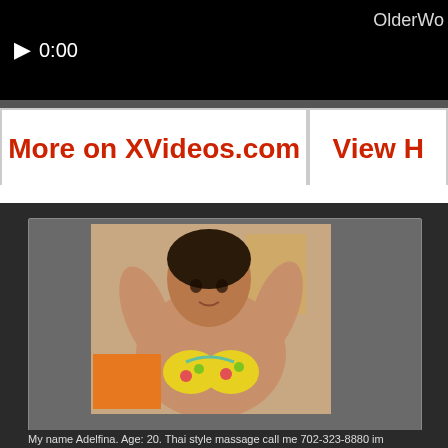[Figure (screenshot): Video player showing timestamp 0:00 with play button and OlderWo watermark, black background with progress bar]
More on XVideos.com
View H
[Figure (photo): Photo of a woman in a yellow floral bikini with arms raised behind head, with an orange rectangle overlay in lower left corner]
My name Adelfina. Age: 20. Thai style massage call me 702-323-8880 im